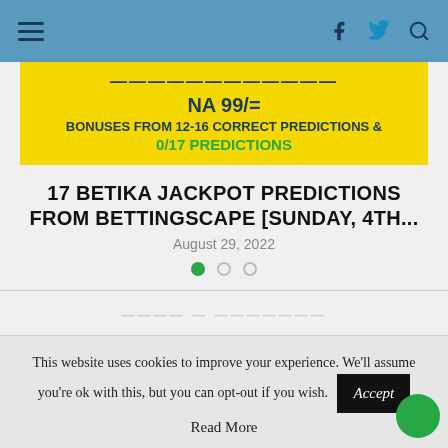Navigation header with hamburger menu and social/search icons
[Figure (other): Yellow banner advertisement with text: NA 99/= BONUSES FROM 12-16 CORRECT PREDICTIONS & 0/17 PREDICTIONS]
17 BETIKA JACKPOT PREDICTIONS FROM BETTINGSCAPE [SUNDAY, 4TH...
August 29, 2022
Carousel dots: one filled green, two empty
This website uses cookies to improve your experience. We'll assume you're ok with this, but you can opt-out if you wish. Read More